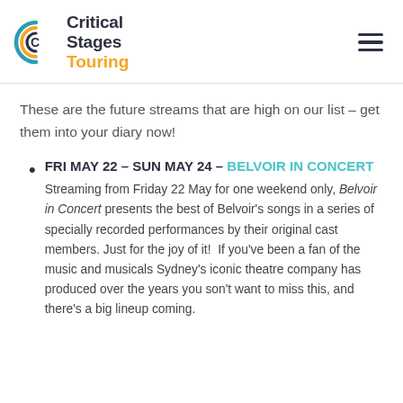Critical Stages Touring
These are the future streams that are high on our list – get them into your diary now!
FRI MAY 22 – SUN MAY 24 – BELVOIR IN CONCERT
Streaming from Friday 22 May for one weekend only, Belvoir in Concert presents the best of Belvoir's songs in a series of specially recorded performances by their original cast members. Just for the joy of it!  If you've been a fan of the music and musicals Sydney's iconic theatre company has produced over the years you son't want to miss this, and there's a big lineup coming.